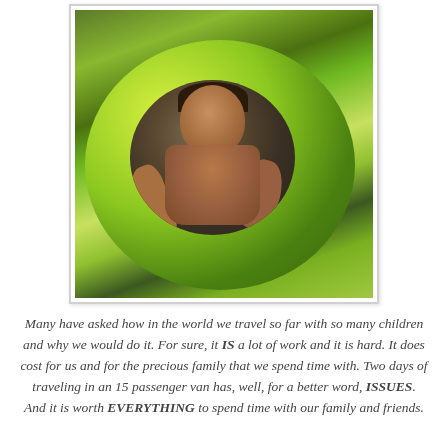[Figure (photo): A man holding a large bright green inflatable swimming ring, smiling. The person is shirtless and wearing a dark necklace. The background appears to be outdoors with greenery.]
Many have asked how in the world we travel so far with so many children and why we would do it. For sure, it IS a lot of work and it is hard. It does cost for us and for the precious family that we spend time with. Two days of traveling in an 15 passenger van has, well, for a better word, ISSUES. And it is worth EVERYTHING to spend time with our family and friends.